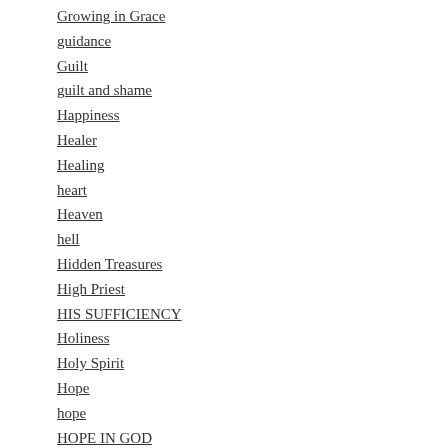Growing in Grace
guidance
Guilt
guilt and shame
Happiness
Healer
Healing
heart
Heaven
hell
Hidden Treasures
High Priest
HIS SUFFICIENCY
Holiness
Holy Spirit
Hope
hope
HOPE IN GOD